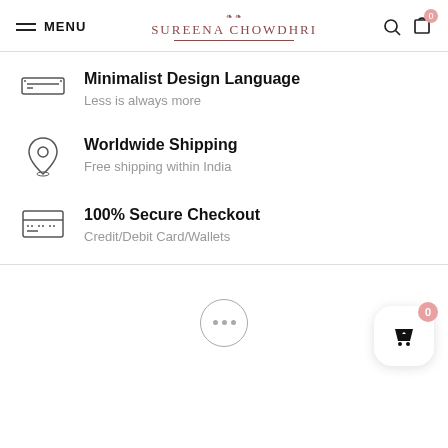MENU | SUREENA CHOWDHRI
Minimalist Design Language - Less is always more
Worldwide Shipping - Free shipping within India
100% Secure Checkout - Credit/Debit Card/Wallets
[Figure (screenshot): Bottom bar with ellipsis/more icon and floating basket cart button with badge showing 0]